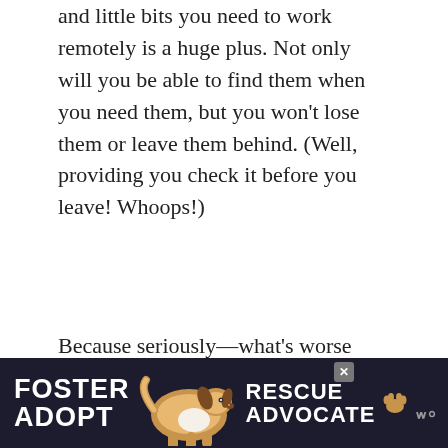and little bits you need to work remotely is a huge plus. Not only will you be able to find them when you need them, but you won't lose them or leave them behind. (Well, providing you check it before you leave! Whoops!)
Because seriously—what's worse than getting to your destination, then finding you left your power cord at home? And yes, I speak from experience!
There are a lot of options for size and the type of sections in the bag like zippered p...
[Figure (other): Advertisement banner with dark background showing 'FOSTER ADOPT' text on left, a beagle dog photo in center, and 'RESCUE ADVOCATE' text on right]